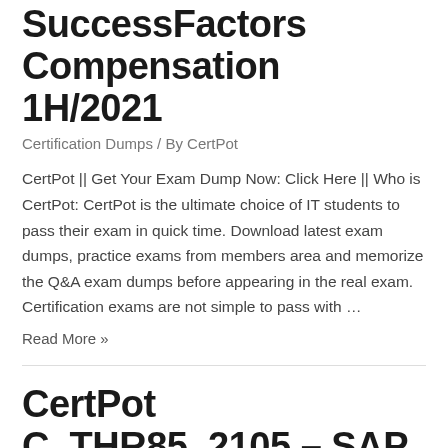SuccessFactors Compensation 1H/2021
Certification Dumps / By CertPot
CertPot || Get Your Exam Dump Now: Click Here || Who is CertPot: CertPot is the ultimate choice of IT students to pass their exam in quick time. Download latest exam dumps, practice exams from members area and memorize the Q&A exam dumps before appearing in the real exam. Certification exams are not simple to pass with …
Read More »
CertPot C_THR85_2105 – SAP Certified Application